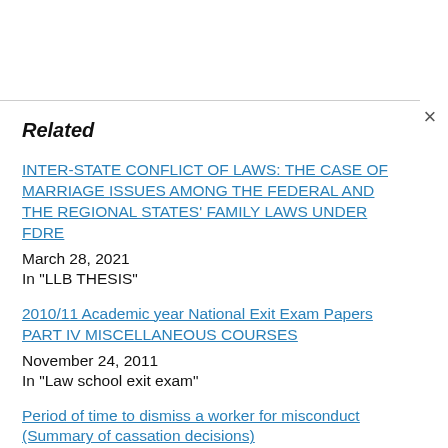Related
INTER-STATE CONFLICT OF LAWS: THE CASE OF MARRIAGE ISSUES AMONG THE FEDERAL AND THE REGIONAL STATES' FAMILY LAWS UNDER FDRE
March 28, 2021
In "LLB THESIS"
2010/11 Academic year National Exit Exam Papers PART IV MISCELLANEOUS COURSES
November 24, 2011
In "Law school exit exam"
Period of time to dismiss a worker for misconduct (Summary of cassation decisions)